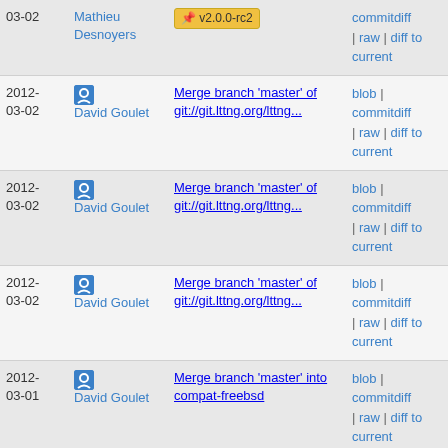| Date | Author | Message | Links |
| --- | --- | --- | --- |
| 2012-03-02 | Mathieu Desnoyers | v2.0.0-rc2 [tag] | commitdiff | raw | diff to current |
| 2012-03-02 | David Goulet | Merge branch 'master' of git://git.lttng.org/lttng... | blob | commitdiff | raw | diff to current |
| 2012-03-02 | David Goulet | Merge branch 'master' of git://git.lttng.org/lttng... | blob | commitdiff | raw | diff to current |
| 2012-03-02 | David Goulet | Merge branch 'master' of git://git.lttng.org/lttng... | blob | commitdiff | raw | diff to current |
| 2012-03-01 | David Goulet | Merge branch 'master' into compat-freebsd | blob | commitdiff | raw | diff to current |
| 2012-02-24 | User | Merge branch 'master' into compat-freebsd | blob | commitdiff |